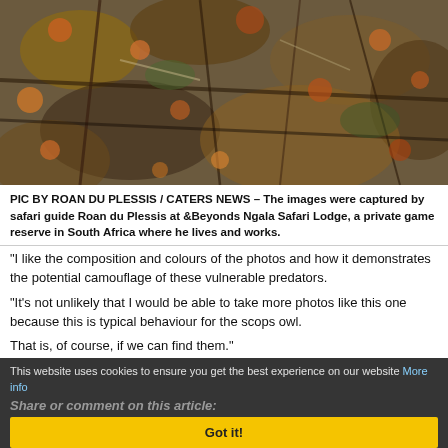[Figure (photo): Nature/wildlife photo showing branches and autumn leaves, camouflage scene from Ngala Safari Lodge, South Africa]
PIC BY ROAN DU PLESSIS / CATERS NEWS – The images were captured by safari guide Roan du Plessis at &Beyonds Ngala Safari Lodge, a private game reserve in South Africa where he lives and works.
"I like the composition and colours of the photos and how it demonstrates the potential camouflage of these vulnerable predators.
"It's not unlikely that I would be able to take more photos like this one because this is typical behaviour for the scops owl.
That is, of course, if we can find them."
This website uses cookies to ensure you get the best experience on our website More info
Share or comment on this article:
Got it!